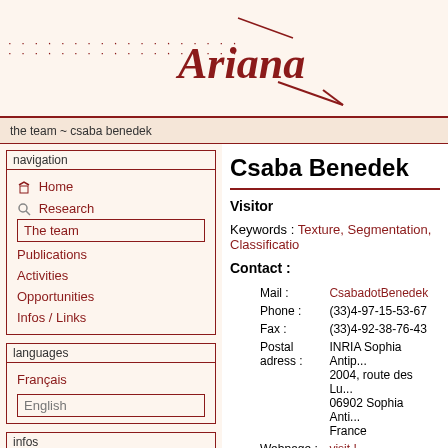[Figure (logo): Ariana logo in dark red cursive script with diagonal line accent, on cream background]
the team ~ csaba benedek
navigation
Home
Research
The team
Publications
Activities
Opportunities
Infos / Links
languages
Français
English
infos
Csaba Benedek
Visitor
Keywords : Texture, Segmentation, Classification
Contact :
| Field | Value |
| --- | --- |
| Mail : | CsabadotBenedek |
| Phone : | (33)4-97-15-53-67 |
| Fax : | (33)4-92-38-76-43 |
| Postal adress : | INRIA Sophia Antip...
2004, route des Lu...
06902 Sophia Anti...
France |
| Webpage : | visit ! |
Abstract :
Aerial image databases have nowa... last decades. Automatic image inde...